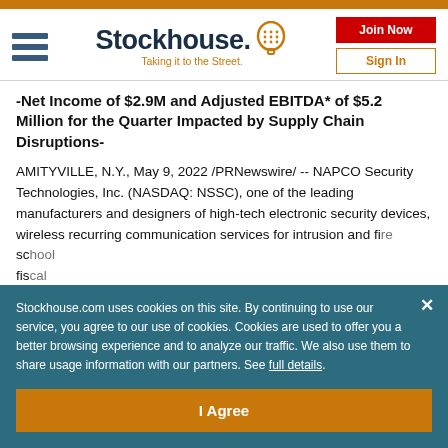Stockhouse - Taking it to the Street.
-Net Income of $2.9M and Adjusted EBITDA* of $5.2 Million for the Quarter Impacted by Supply Chain Disruptions-
AMITYVILLE, N.Y., May 9, 2022 /PRNewswire/ -- NAPCO Security Technologies, Inc. (NASDAQ: NSSC), one of the leading manufacturers and designers of high-tech electronic security devices, wireless recurring communication services for intrusion and fi... sc... fi...
Fi...
Stockhouse.com uses cookies on this site. By continuing to use our service, you agree to our use of cookies. Cookies are used to offer you a better browsing experience and to analyze our traffic. We also use them to share usage information with our partners. See full details.